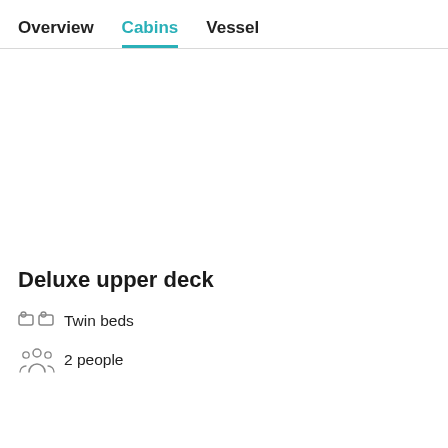Overview  Cabins  Vessel
Deluxe upper deck
Twin beds
2 people